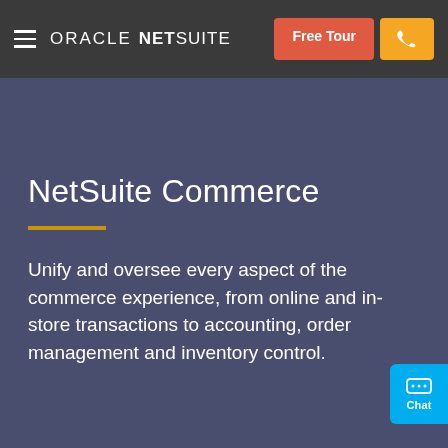ORACLE NETSUITE — Free Tour | Phone
NetSuite Commerce
Unify and oversee every aspect of the commerce experience, from online and in-store transactions to accounting, order management and inventory control.